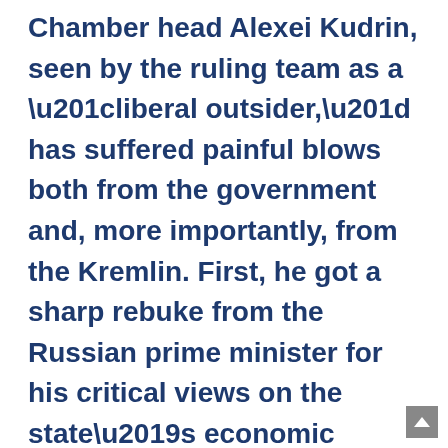Chamber head Alexei Kudrin, seen by the ruling team as a “liberal outsider,” has suffered painful blows both from the government and, more importantly, from the Kremlin. First, he got a sharp rebuke from the Russian prime minister for his critical views on the state’s economic policy. But shortly after, the Kremlin was the